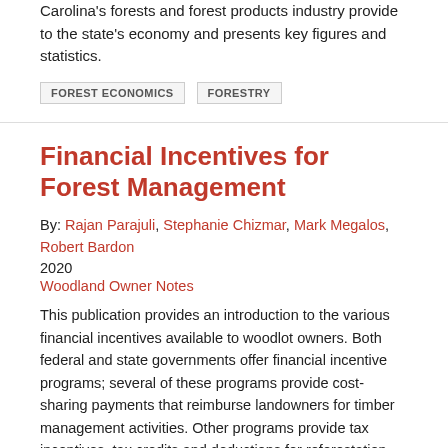Carolina's forests and forest products industry provide to the state's economy and presents key figures and statistics.
FOREST ECONOMICS
FORESTRY
Financial Incentives for Forest Management
By: Rajan Parajuli, Stephanie Chizmar, Mark Megalos, Robert Bardon
2020
Woodland Owner Notes
This publication provides an introduction to the various financial incentives available to woodlot owners. Both federal and state governments offer financial incentive programs; several of these programs provide cost-sharing payments that reimburse landowners for timber management activities. Other programs provide tax incentives, tax credits and deductions for reforestation expenses.